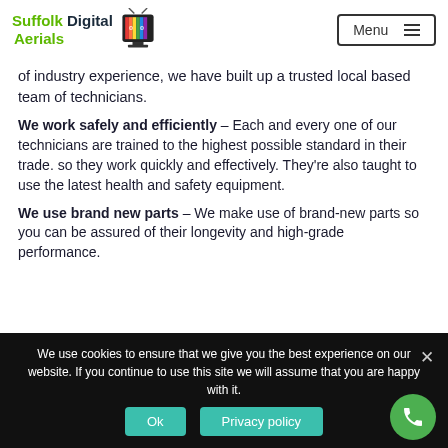Suffolk Digital Aerials — Menu
of industry experience, we have built up a trusted local based team of technicians.
We work safely and efficiently – Each and every one of our technicians are trained to the highest possible standard in their trade. so they work quickly and effectively. They're also taught to use the latest health and safety equipment.
We use brand new parts – We make use of brand-new parts so you can be assured of their longevity and high-grade performance.
We use cookies to ensure that we give you the best experience on our website. If you continue to use this site we will assume that you are happy with it.